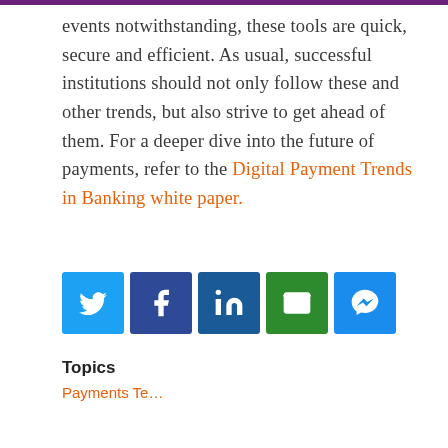events notwithstanding, these tools are quick, secure and efficient. As usual, successful institutions should not only follow these and other trends, but also strive to get ahead of them. For a deeper dive into the future of payments, refer to the Digital Payment Trends in Banking white paper.
[Figure (other): Social share buttons: Twitter (blue), Facebook (dark blue), LinkedIn (blue), Email (green), Messenger (blue)]
[Figure (other): Chat popup overlay with close button, message 'Hi there 🤖 I'm the CSI assistant. How can I help you today?' and robot icon with badge showing 1]
Topics
Payments Te...